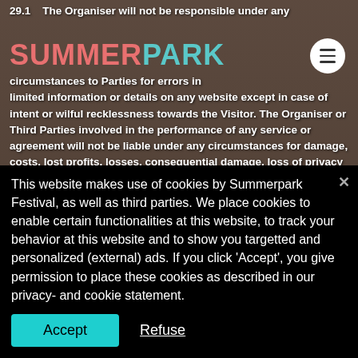[Figure (screenshot): Festival background photo with blurred crowd and warm tones]
[Figure (logo): Summerpark festival logo in pink/teal colors]
29.1    The Organiser will not be responsible under any circumstances to Parties for errors in limited information or details on any website except in case of intent or wilful recklessness towards the Visitor. The Organiser or Third Parties involved in the performance of any service or agreement will not be liable under any circumstances for damage, costs, lost profits, losses, consequential damage, loss of privacy or loss of data for any direct or indirect use or functioning of the Website.
29.2    The Organiser expressly does not warrant the Visitor that
This website makes use of cookies by Summerpark Festival, as well as third parties. We place cookies to enable certain functionalities at this website, to track your behavior at this website and to show you targetted and personalized (external) ads. If you click 'Accept', you give permission to place these cookies as described in our privacy- and cookie statement.